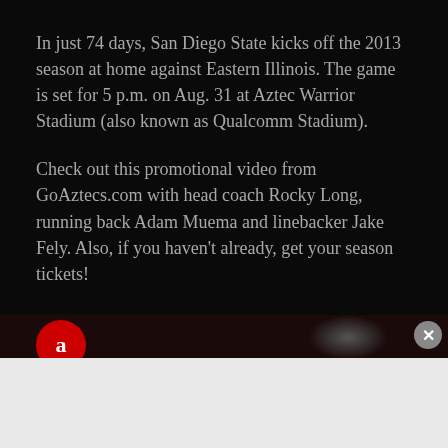In just 74 days, San Diego State kicks off the 2013 season at home against Eastern Illinois. The game is set for 5 p.m. on Aug. 31 at Aztec Warrior Stadium (also known as Qualcomm Stadium).
Check out this promotional video from GoAztecs.com with head coach Rocky Long, running back Adam Muema and linebacker Jake Fely. Also, if you haven't already, get your season tickets!
[Figure (photo): Partial view of a promotional video thumbnail showing a red circle logo and a person in the background, dark background.]
Advertisements